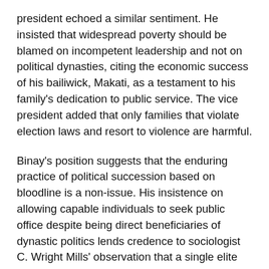president echoed a similar sentiment. He insisted that widespread poverty should be blamed on incompetent leadership and not on political dynasties, citing the economic success of his bailiwick, Makati, as a testament to his family's dedication to public service. The vice president added that only families that violate election laws and resort to violence are harmful.
Binay's position suggests that the enduring practice of political succession based on bloodline is a non-issue. His insistence on allowing capable individuals to seek public office despite being direct beneficiaries of dynastic politics lends credence to sociologist C. Wright Mills' observation that a single elite faction (or family), not a multiplicity of competing groups, has legitimacy to rule and decide the “life-and death” issues for a nation provided that it possesses the skills, knowledge, and experience necessary to be effective.